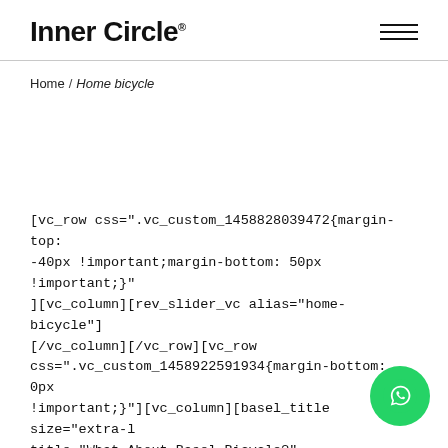Inner Circle®
Home / Home bicycle
[vc_row css=".vc_custom_1458828039472{margin-top: -40px !important;margin-bottom: 50px !important;}"][vc_column][rev_slider_vc alias="home-bicycle"][/vc_column][/vc_row][vc_row css=".vc_custom_1458922591934{margin-bottom: 0px !important;}"][vc_column][basel_title size="extra-l title="What About Basel Bicycle?" css=".vc_custom_1458922586915{margin-bottom: 40px !important;}"][/vc_column][/vc_row][vc_row